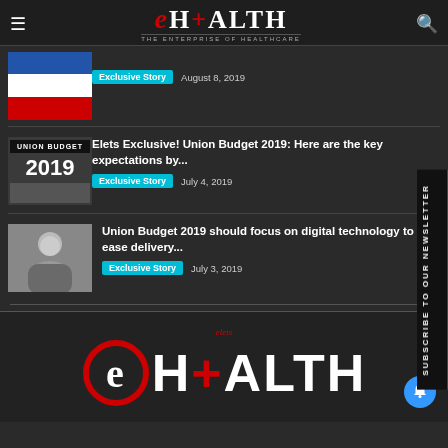eHEALTH - THE ENTERPRISE OF HEALTHCARE
Exclusive Story  August 8, 2019
[Figure (photo): Flag image thumbnail]
[Figure (photo): Union Budget 2019 thumbnail with stacked coins]
Elets Exclusive! Union Budget 2019: Here are the key expectations by...  Exclusive Story  July 4, 2019
[Figure (photo): Man in suit - person thumbnail]
Union Budget 2019 should focus on digital technology to ease delivery...  Exclusive Story  July 3, 2019
[Figure (logo): eHEALTH - THE ENTERPRISE OF HEALTHCARE logo at footer]